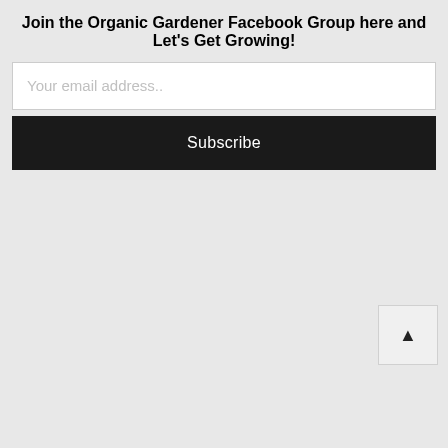Join the Organic Gardener Facebook Group here and Let's Get Growing!
Your email address..
Subscribe
[Figure (other): Small button with an upward-pointing triangle arrow icon, used for scroll-to-top navigation]